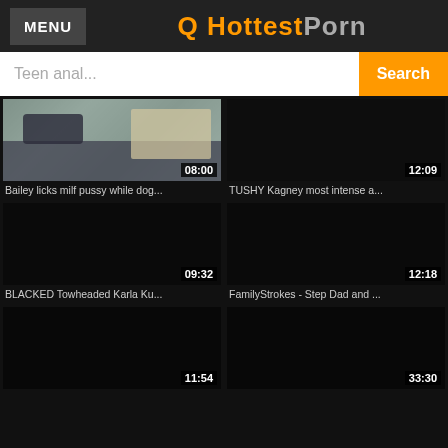MENU | Q HottestPorn
Teen anal... Search
[Figure (screenshot): Video thumbnail grid showing adult video website with 6 video cards: Bailey licks milf pussy while dog... (08:00), TUSHY Kagney most intense a... (12:09), BLACKED Towheaded Karla Ku... (09:32), FamilyStrokes - Step Dad and ... (12:18), unlabeled (11:54), unlabeled (33:30)]